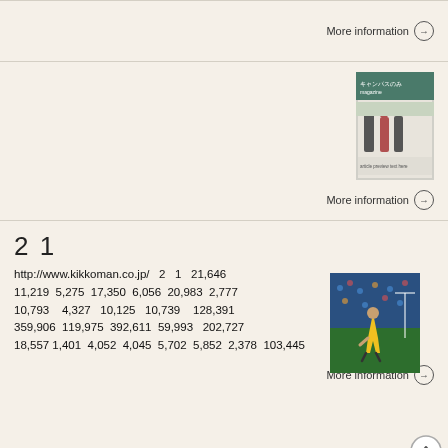More information →
[Figure (photo): Thumbnail image of a Japanese campus magazine/brochure cover showing people outside a building]
More information →
2 1
http://www.kikkoman.co.jp/  2  1  21,646  11,219  5,275  17,350  6,056  20,983  2,777  10,793  4,327  10,125  10,739  128,391  359,906  119,975  392,611  59,993  202,727  18,557 1,401  4,052  4,045  5,702  5,852  2,378  103,445
[Figure (photo): Sports photo showing a soccer/football player in yellow jersey running on a field with crowd in background]
More information →